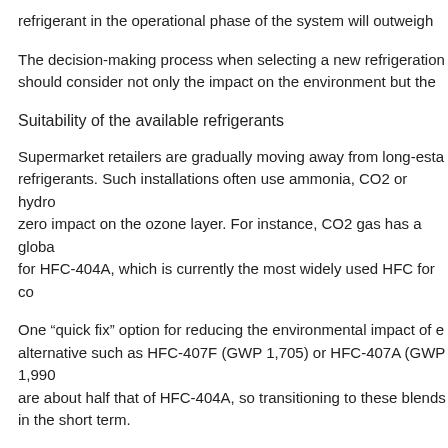refrigerant in the operational phase of the system will outweigh
The decision-making process when selecting a new refrigeration should consider not only the impact on the environment but the
Suitability of the available refrigerants
Supermarket retailers are gradually moving away from long-esta refrigerants. Such installations often use ammonia, CO2 or hydro zero impact on the ozone layer. For instance, CO2 gas has a globa for HFC-404A, which is currently the most widely used HFC for co
One “quick fix” option for reducing the environmental impact of e alternative such as HFC-407F (GWP 1,705) or HFC-407A (GWP 1,990 are about half that of HFC-404A, so transitioning to these blends in the short term.
Due to its low environmental impact, CO2 is also gaining popular is commonly named R744 in the refrigeration and air conditionin
The advantages are:
• Low toxicity
• Non-flammability